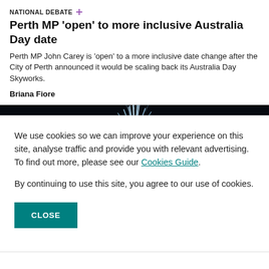NATIONAL DEBATE
Perth MP 'open' to more inclusive Australia Day date
Perth MP John Carey is 'open' to a more inclusive date change after the City of Perth announced it would be scaling back its Australia Day Skyworks.
Briana Fiore
[Figure (photo): Fireworks display against a dark night sky]
We use cookies so we can improve your experience on this site, analyse traffic and provide you with relevant advertising. To find out more, please see our Cookies Guide. By continuing to use this site, you agree to our use of cookies.